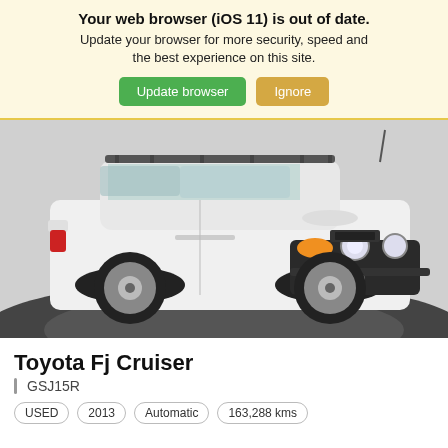Your web browser (iOS 11) is out of date.
Update your browser for more security, speed and the best experience on this site.
Update browser | Ignore
[Figure (photo): White Toyota FJ Cruiser SUV with roof rack and auxiliary lights, parked on a dark circular platform, viewed from front-left angle. CarCo logo visible on front bumper area.]
Toyota Fj Cruiser
| GSJ15R
USED  2013  Automatic  163,288 kms